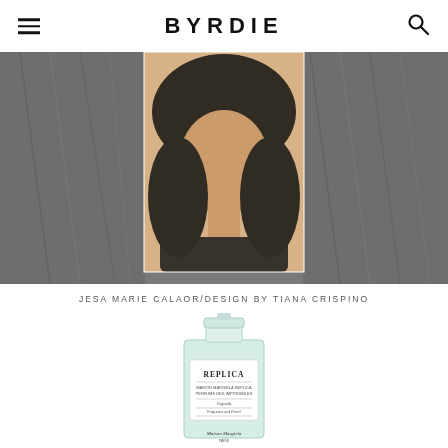BYRDIE
[Figure (photo): Composite photo showing dark wavy hair close-up on left and right, with a center portrait photo of a woman with dark curly hair wearing a dark top, taken in sunlight]
JESA MARIE CALAOR/DESIGN BY TIANA CRISPINO
[Figure (photo): Product photo of Maison Margiela Replica fragrance bottle with green/clear glass and white label]